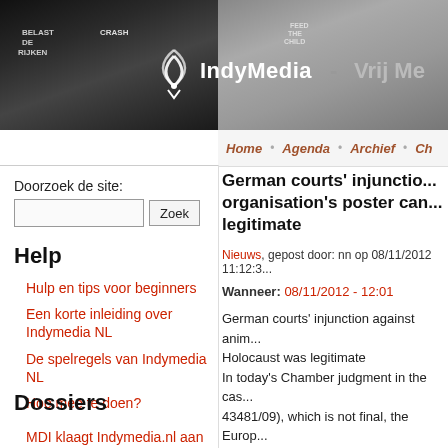[Figure (photo): IndyMedia website header banner showing black and white protest crowd with signs, IndyMedia logo with wireless signal icon and text 'IndyMedia - Vrij Me...']
Home  Agenda  Archief  Ch...
Doorzoek de site:
Help
Hulp en tips voor beginners
Een korte inleiding over Indymedia NL
De spelregels van Indymedia NL
Hoe mee te doen?
Dossiers
MDI klaagt Indymedia.nl aan
German courts' injunction against organisation's poster campaign was legitimate
Nieuws, gepost door: nn op 08/11/2012 11:12:3...
Wanneer: 08/11/2012 - 12:01
German courts' injunction against anim... Holocaust was legitimate
In today's Chamber judgment in the cas... 43481/09), which is not final, the Europ... had been:
no violation of Article 10 (freedom of e...